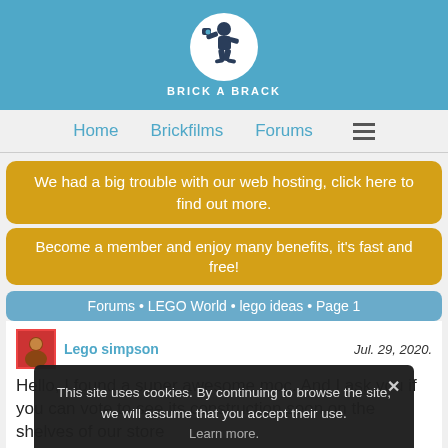[Figure (logo): Brick A Brack logo: stylized LEGO character running with camera in a white circle, text BRICK A BRACK below]
Home   Brickfilms   Forums   ☰
We had a big trouble with our web hosting, click here to find out more.
Become a member and enjoy many benefits, it's fast and free!
Forums • LEGO World • lego ideas • Page 1
Lego simpson   Jul. 29, 2020.
Hello, I found a super awesome moc. And I ask you if you can vote to see its construction soon on the shelves of our store
https://                                                  5a-10a7
This site uses cookies. By continuing to browse the site, we will assume that you accept their use. Learn more.